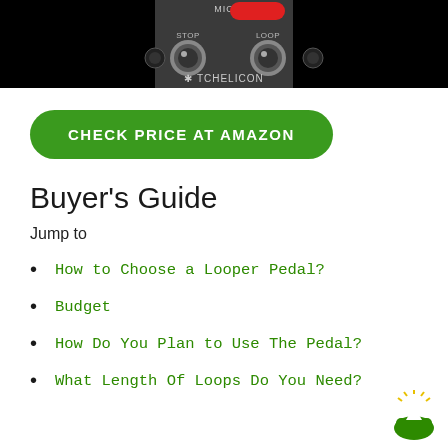[Figure (photo): Close-up photo of TC Helicon looper pedal showing MIC button (red), STOP and LOOP footswitches, and TC Helicon logo on black background]
CHECK PRICE AT AMAZON
Buyer's Guide
Jump to
How to Choose a Looper Pedal?
Budget
How Do You Plan to Use The Pedal?
What Length Of Loops Do You Need?